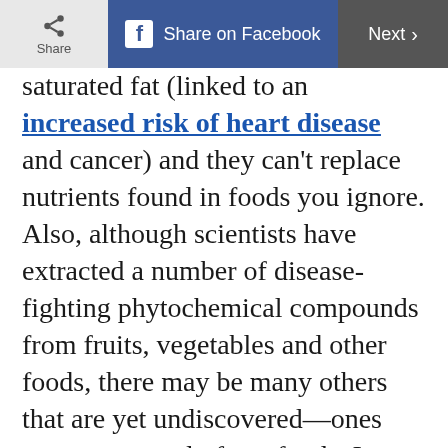Share | Share on Facebook | Next >
saturated fat (linked to an increased risk of heart disease and cancer) and they can't replace nutrients found in foods you ignore. Also, although scientists have extracted a number of disease-fighting phytochemical compounds from fruits, vegetables and other foods, there may be many others that are yet undiscovered—ones you can get only from foods. In addition, some of the
Do you want our
Top stories of the day delivered to your inbox?
YES PLEASE!
NO THANKS